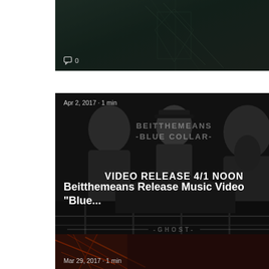[Figure (screenshot): Top card: dark abstract image with comment icon showing 0 comments]
0
[Figure (screenshot): Middle card: Music blog post card for Beitthemeans Release Music Video 'Blue...' dated Apr 2, 2017 · 1 min, showing band photo in black and white with 'BEITTHEMEANS -BLUE COLLAR-' and 'VIDEO RELEASE 4/1 NOON' overlaid, ghost text below, 0 comments]
Apr 2, 2017 · 1 min
BEITTHEMEANS
-BLUE COLLAR-
VIDEO RELEASE 4/1 NOON
Beitthemeans Release Music Video "Blue...
0
[Figure (screenshot): Bottom card: partial view of another post dated Mar 29, 2017 · 1 min with dark reddish/brown image]
Mar 29, 2017 · 1 min